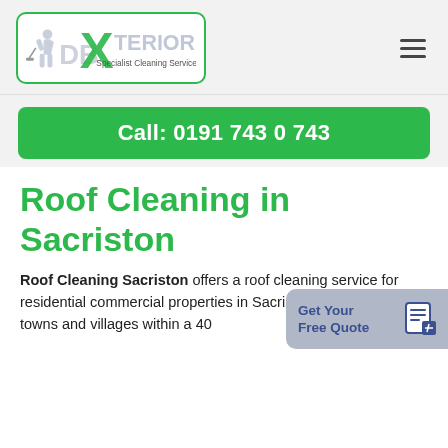[Figure (logo): DBXterior Specialist Cleaning Services logo with green X and figure holding pressure washer, inside green rounded rectangle border]
Call: 0191 743 0 743
Roof Cleaning in Sacriston
Roof Cleaning Sacriston offers a roof cleaning service for residential commercial properties in Sacriston surrounding towns and villages within a 40
[Figure (infographic): Get Your Free Quote button widget with clipboard/pencil icon on grey-blue background]